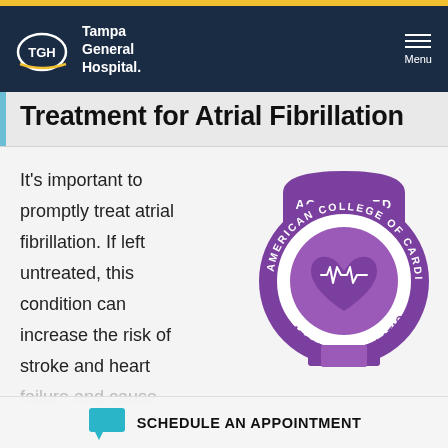[Figure (logo): Tampa General Hospital logo with TGH oval and wordmark on dark navy header, with hamburger menu icon and 'Menu' label]
Treatment for Atrial Fibrillation
It's important to promptly treat atrial fibrillation. If left untreated, this condition can increase the risk of stroke and heart failure and cause damage to other
[Figure (logo): American College of Cardiology Accredited Atrial Fibrillation badge/seal in purple and white with heart and ECG waveform icon]
SCHEDULE AN APPOINTMENT